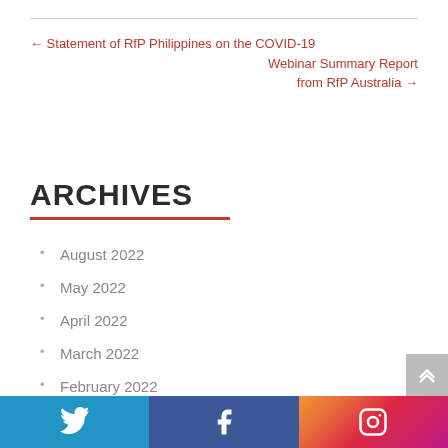← Statement of RfP Philippines on the COVID-19
Webinar Summary Report from RfP Australia →
ARCHIVES
August 2022
May 2022
April 2022
March 2022
February 2022